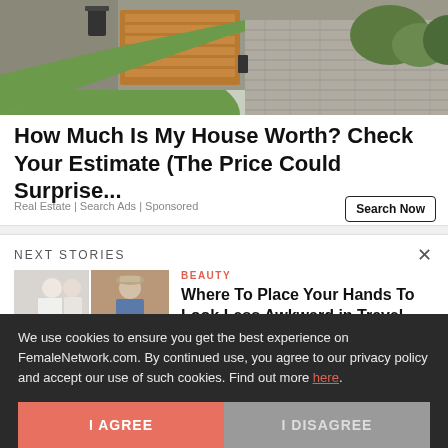[Figure (photo): House exterior with driveway, lawn, and garage — real estate advertisement image]
How Much Is My House Worth? Check Your Estimate (The Price Could Surprise...
Real Estate | Search Ads | Sponsored
Search Now
NEXT STORIES
[Figure (photo): Two fashion photos side by side — women in travel/wedding outfits]
BEAUTY
Where To Place Your Hands To Look Less Awkward in Travel, Wedding OOTDs
We use cookies to ensure you get the best experience on FemaleNetwork.com. By continued use, you agree to our privacy policy and accept our use of such cookies. Find out more here.
I AGREE
I DISAGREE